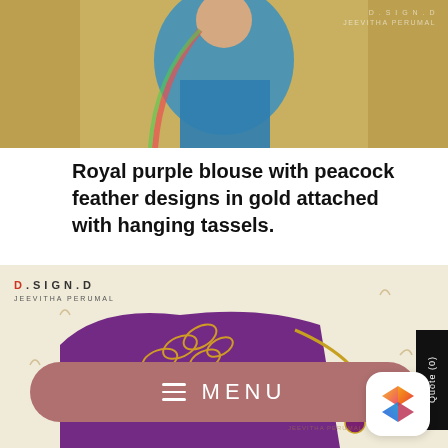[Figure (photo): Photo of a woman wearing a blue silk saree with colorful dupatta, standing against a beige curtain background. D.SIGN.D Jeevitha Perumal watermark visible.]
Royal purple blouse with peacock feather designs in gold attached with hanging tassels.
[Figure (photo): Close-up photo of a royal purple blouse with intricate gold peacock feather embroidery designs and hanging tassels. D.SIGN.D Jeevitha Perumal branding visible. Quote (0) tab on right side. MENU bar overlay at bottom.]